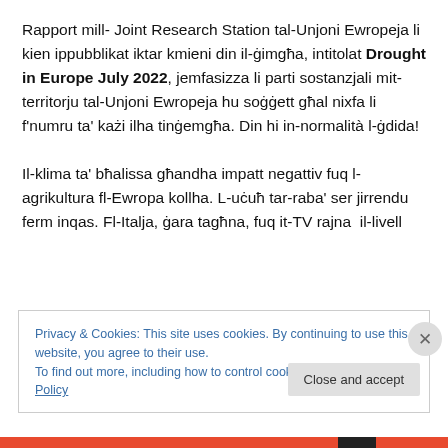Rapport mill- Joint Research Station tal-Unjoni Ewropeja li kien ippubblikat iktar kmieni din il-ġimgħa, intitolat Drought in Europe July 2022, jemfasizza li parti sostanzjali mit-territorju tal-Unjoni Ewropeja hu soġġett għal nixfa li f'numru ta' każi ilha tinġemgħa. Din hi in-normalità l-ġdida!

Il-klima ta' bħalissa għandha impatt negattiv fuq l-agrikultura fl-Ewropa kollha. L-uċuħ tar-raba' ser jirrendu ferm inqas. Fl-Italja, ġara tagħna, fuq it-TV rajna  il-livell
Privacy & Cookies: This site uses cookies. By continuing to use this website, you agree to their use.
To find out more, including how to control cookies, see here: Cookie Policy